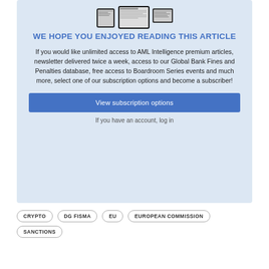[Figure (illustration): Devices image showing tablet and smartphone with document/article content displayed on screens]
WE HOPE YOU ENJOYED READING THIS ARTICLE
If you would like unlimited access to AML Intelligence premium articles, newsletter delivered twice a week, access to our Global Bank Fines and Penalties database, free access to Boardroom Series events and much more, select one of our subscription options and become a subscriber!
View subscription options
If you have an account, log in
CRYPTO
DG FISMA
EU
EUROPEAN COMMISSION
SANCTIONS